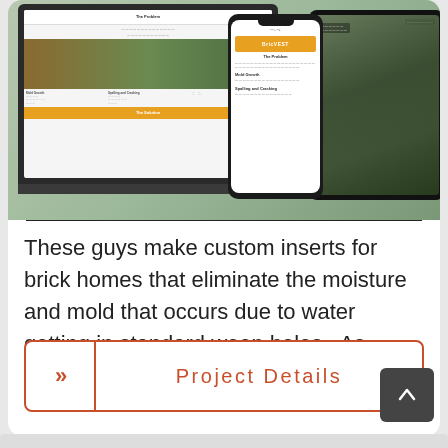[Figure (screenshot): Screenshot showing laptop, phone and tablet displaying a brick/moisture-related website (BricVest) with sections labeled 'The Problem', 'Mold Growth', 'Spalling and Cracking', 'The Solution'. Devices are shown against a stone/moss textured background.]
These guys make custom inserts for brick homes that eliminate the moisture and mold that occurs due to water getting in standard weep holes.  As another local Indianapolis company…
Project Details